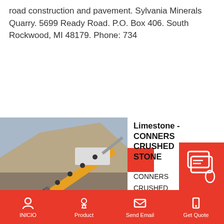road construction and pavement. Sylvania Minerals Quarry. 5699 Ready Road. P.O. Box 406. South Rockwood, MI 48179. Phone: 734
Read More
[Figure (photo): A large mobile rock crushing machine at a quarry site with gravel and stone piles in background]
Limestone - CONNERS CRUSHED STONE
CONNERS
CRUSHED
STONE
Offic
[Figure (screenshot): Chat/quote overlay icon in red]
INICIO | Product | Send Email | Get Quote